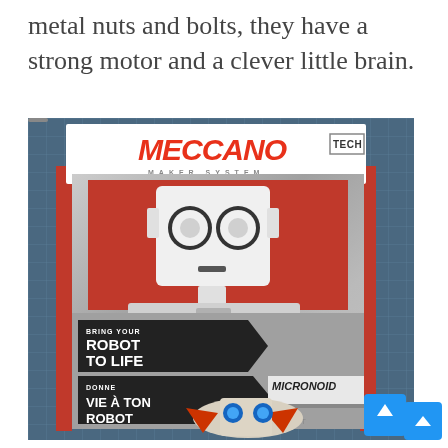metal nuts and bolts, they have a strong motor and a clever little brain.
[Figure (photo): Photo of a Meccano Tech Maker System Micronoid Socket robot toy in its retail packaging. The box shows a white robot with large circular eyes on top, red side panels, and a silver interior. The box reads 'BRING YOUR ROBOT TO LIFE' and 'DONNE VIE À TON ROBOT' on dark arrow-shaped labels, along with 'MICRONOID SOCKET' branding. A smaller assembled robot image is visible at the bottom of the packaging. A blue scroll-to-top button is visible in the bottom-right corner.]